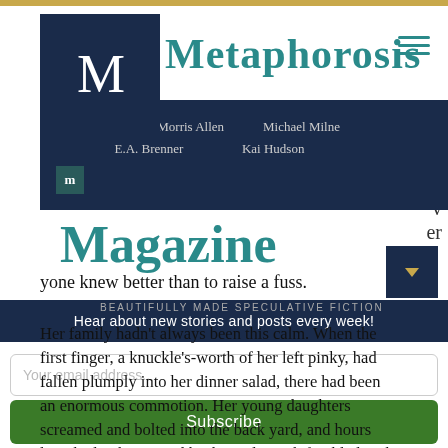[Figure (logo): Metaphorosis Magazine logo with large M on dark blue background]
Metaphorosis
[Figure (illustration): Dark navy magazine cover banner showing author names: Carol Wellart, B. Morris Allen, E.A. Brenner, Michael Milne, Kai Hudson]
Magazine
yone knew better than to raise a fuss.
BEAUTIFULLY MADE SPECULATIVE FICTION
Her family hadn't always been this calm. When the first finger, a knuckle's-worth of her left pinky, had fallen plumply into her dinner salad, there had been an enormous commotion. Her young daughters screamed and bolted into the back yard, and hours later had to be coaxed back inside. Jack fumbled with the phone in kitchen, trying to maintain an even voice while hol
Hear about new stories and posts every week!
Your email address..
Subscribe